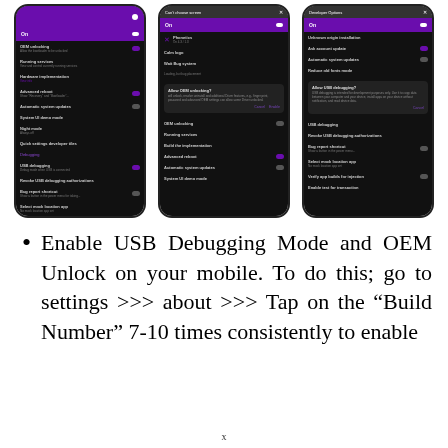[Figure (screenshot): Three smartphone screenshots showing Android Developer Options settings screens with USB Debugging, OEM Unlock options and related dialogs. Screens have dark backgrounds with purple header bars.]
Enable USB Debugging Mode and OEM Unlock on your mobile. To do this; go to settings >>> about >>> Tap on the "Build Number" 7-10 times consistently to enable
x